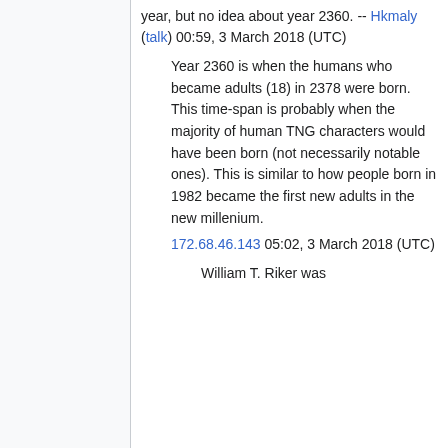year, but no idea about year 2360. -- Hkmaly (talk) 00:59, 3 March 2018 (UTC)
Year 2360 is when the humans who became adults (18) in 2378 were born. This time-span is probably when the majority of human TNG characters would have been born (not necessarily notable ones). This is similar to how people born in 1982 became the first new adults in the new millenium. 172.68.46.143 05:02, 3 March 2018 (UTC)
William T. Riker was